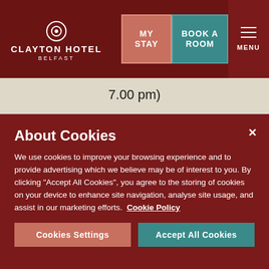[Figure (logo): Clayton Hotel Belfast logo with circular icon and white text on dark red background]
7.00 pm)
Saturday & Sunday – 9.00 am to 5.00 pm (last entry to gym 4.00 pm)
Please note the last entry to the facilities is one hour before closing. The pool area is cleared 30 minutes before
About Cookies
We use cookies to improve your browsing experience and to provide advertising which we believe may be of interest to you. By clicking "Accept All Cookies", you agree to the storing of cookies on your device to enhance site navigation, analyse site usage, and assist in our marketing efforts.  Cookie Policy